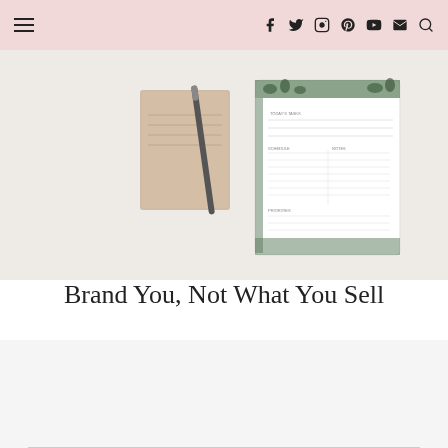Navigation header with hamburger menu and social icons: Facebook, Twitter, Instagram, Pinterest, YouTube, Email, Search
[Figure (photo): Flatlay photo of a desk with a planner/notepad with green botanical border, a notebook, and a pen on a white surface]
Brand You, Not What You Sell